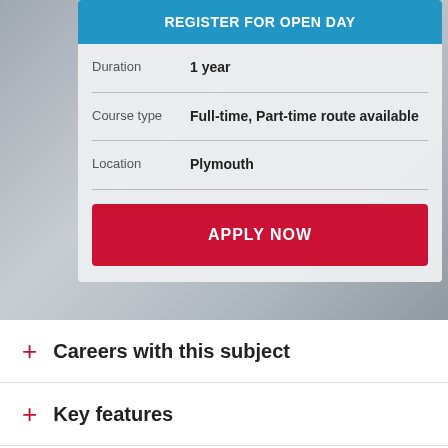REGISTER FOR OPEN DAY
| Field | Value |
| --- | --- |
| Duration | 1 year |
| Course type | Full-time, Part-time route available |
| Location | Plymouth |
APPLY NOW
+ Careers with this subject
+ Key features
+ Course details